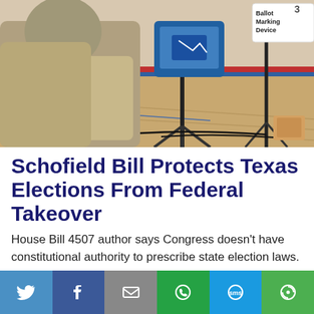[Figure (photo): A person sitting at a voting/ballot machine setup in what appears to be a gymnasium or polling location. In the background is a blue electronic ballot marking device on a stand, and a sign reading 'Ballot Marking Device'. Cables and equipment are visible on the floor.]
Schofield Bill Protects Texas Elections From Federal Takeover
House Bill 4507 author says Congress doesn't have constitutional authority to prescribe state election laws.
READ MORE